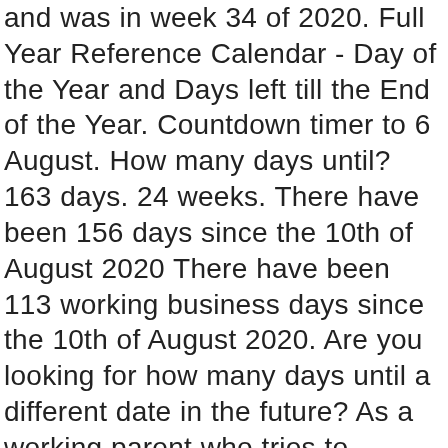and was in week 34 of 2020. Full Year Reference Calendar - Day of the Year and Days left till the End of the Year. Countdown timer to 6 August. How many days until? 163 days. 24 weeks. There have been 156 days since the 10th of August 2020 There have been 113 working business days since the 10th of August 2020. Are you looking for how many days until a different date in the future? As a working parent who tries to squeeze in extra hours around the kids' schedule, I find knowing exactly how much "free" time I have left in a week useful for planning purposes. standard work hours (9-5) left until the start of the weekend. How many days until the 3rd of August 2020? More people are now eligible for furlough, with the scheme extended until April 2021. How many months ago was August 6th 2020? How Many More Days Until August 5th, 2020?-150 Days. What's happening on this day? We used our math skills and calculated the number of days between (today) and the date of May 9, 2020. We used our math skills and